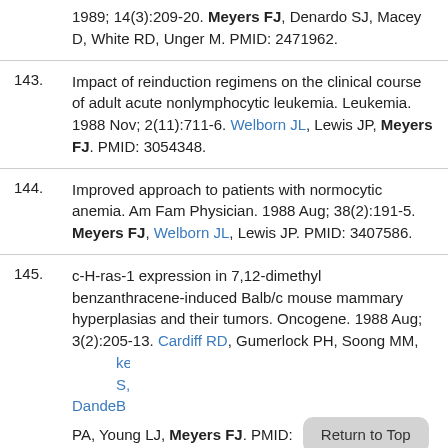1989; 14(3):209-20. Meyers FJ, Denardo SJ, Macey D, White RD, Unger M. PMID: 2471962.
143. Impact of reinduction regimens on the clinical course of adult acute nonlymphocytic leukemia. Leukemia. 1988 Nov; 2(11):711-6. Welborn JL, Lewis JP, Meyers FJ. PMID: 3054348.
144. Improved approach to patients with normocytic anemia. Am Fam Physician. 1988 Aug; 38(2):191-5. Meyers FJ, Welborn JL, Lewis JP. PMID: 3407586.
145. c-H-ras-1 expression in 7,12-dimethyl benzanthracene-induced Balb/c mouse mammary hyperplasias and their tumors. Oncogene. 1988 Aug; 3(2):205-13. Cardiff RD, Gumerlock PH, Soong MM, Dandekar S, Bhargava PA, Young LJ, Meyers FJ. PMID: [Return to Top button]
146. Human renal clear cell carcinoma: